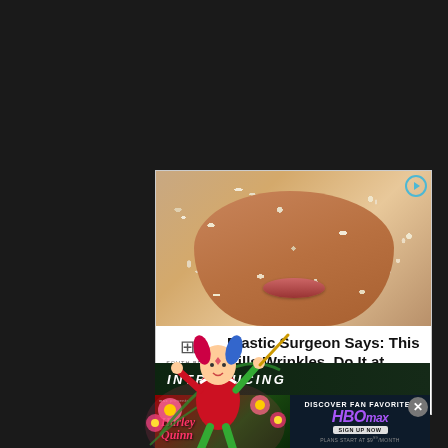[Figure (photo): Advertisement showing a close-up of a person's face covered in oatmeal face mask, with lips visible. South Beach Skin Lab brand logo on left. Headline: 'Plastic Surgeon Says: This Kills Wrinkles, Do It at Home'. Sponsored by SouthBeachSkinLab.]
[Figure (illustration): Harley Quinn / comic character illustration overlapping ads, with colorful flowers, red and green costume, swinging pose.]
[Figure (screenshot): HBO Max advertisement banner at bottom. Left side shows 'Harley Quinn' show title card in red/green. Right side dark blue with text: DISCOVER FAN FAVORITES, HBO MAX logo, SIGN UP NOW button, PLANS START AT $9/MONTH.]